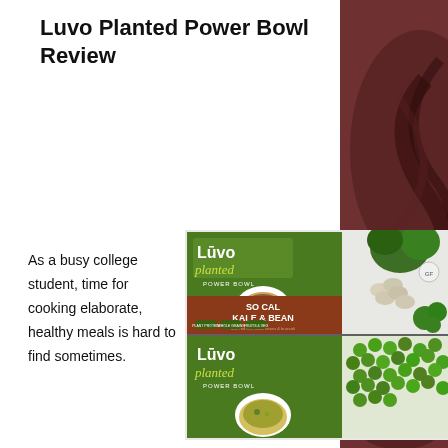Luvo Planted Power Bowl Review
[Figure (photo): Two Luvo Planted Power Bowl product boxes stacked. Top box: So Cal Kale & Bean variety with green branding, image of a bowl, kale leaves, beans, and broccoli. Bottom box: another Luvo Planted Power Bowl variety with green peas visible.]
As a busy college student, time for cooking elaborate, healthy meals is hard to find sometimes.